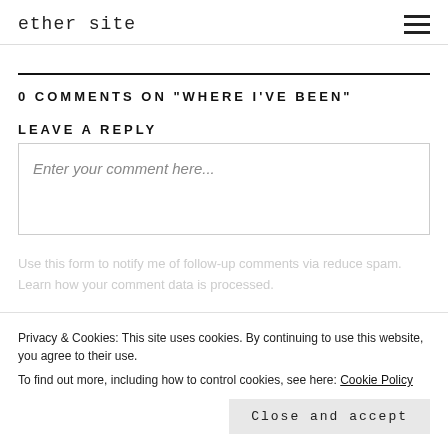ether site
0 COMMENTS ON “WHERE I’VE BEEN”
LEAVE A REPLY
Enter your comment here...
Privacy & Cookies: This site uses cookies. By continuing to use this website, you agree to their use.
To find out more, including how to control cookies, see here: Cookie Policy
Close and accept